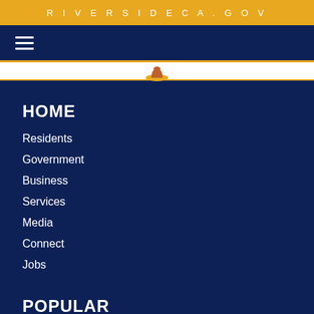RIVERSIDECA.GOV
[Figure (logo): Hamburger menu icon (three horizontal lines) in the navigation bar, with a city logo/seal partially visible in the banner below]
HOME
Residents
Government
Business
Services
Media
Connect
Jobs
POPULAR
City Departments